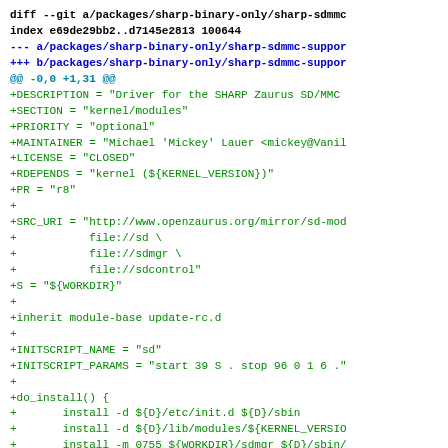diff --git a/packages/sharp-binary-only/sharp-sdmmc
index e69de29bb2..d7145e2813 100644
--- a/packages/sharp-binary-only/sharp-sdmmc-suppor
+++ b/packages/sharp-binary-only/sharp-sdmmc-suppor
@@ -0,0 +1,31 @@
+DESCRIPTION = "Driver for the SHARP Zaurus SD/MMC
+SECTION = "kernel/modules"
+PRIORITY = "optional"
+MAINTAINER = "Michael 'Mickey' Lauer <mickey@Vanil
+LICENSE = "CLOSED"
+RDEPENDS = "kernel (${KERNEL_VERSION})"
+PR = "r8"
+
+SRC_URI = "http://www.openzaurus.org/mirror/sd-mod
+           file://sd \
+           file://sdmgr \
+           file://sdcontrol"
+S = "${WORKDIR}"
+
+inherit module-base update-rc.d
+
+INITSCRIPT_NAME = "sd"
+INITSCRIPT_PARAMS = "start 39 S . stop 96 0 1 6 ."
+
+do_install() {
+       install -d ${D}/etc/init.d ${D}/sbin
+       install -d ${D}/lib/modules/${KERNEL_VERSIO
+       install -m 0755 ${WORKDIR}/sdmgr ${D}/sbin/
+       install -m 0755 ${WORKDIR}/sdcontrol ${D}/$